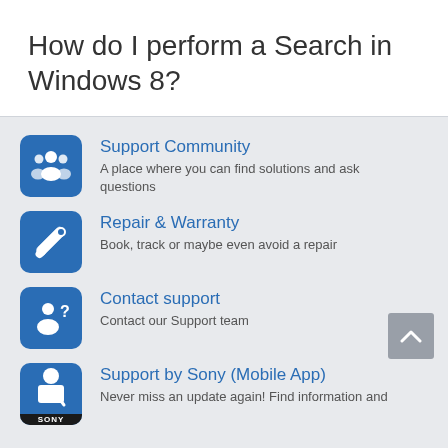How do I perform a Search in Windows 8?
Support Community
A place where you can find solutions and ask questions
Repair & Warranty
Book, track or maybe even avoid a repair
Contact support
Contact our Support team
Support by Sony (Mobile App)
Never miss an update again! Find information and